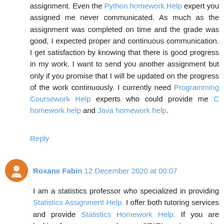assignment. Even the Python homework Help expert you assigned me never communicated. As much as the assignment was completed on time and the grade was good, I expected proper and continuous communication. I get satisfaction by knowing that there is good progress in my work. I want to send you another assignment but only if you promise that I will be updated on the progress of the work continuously. I currently need Programming Coursework Help experts who could provide me C homework help and Java homework help.
Reply
Roxane Fabin 12 December 2020 at 00:07
I am a statistics professor who specialized in providing Statistics Assignment Help. I offer both tutoring services and provide Statistics Homework Help. If you are looking for someone to do your STATA assignment the look no further. All my online classes are free, while the assignments are completed at a reasonable fee. Contact me through Visit: